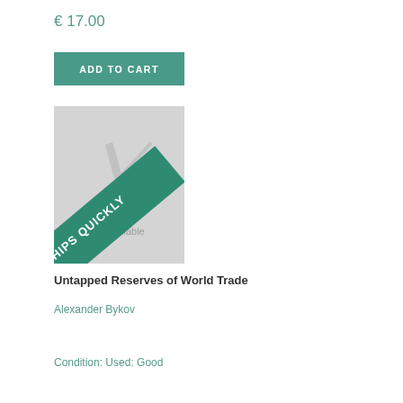€ 17.00
ADD TO CART
[Figure (illustration): Book cover placeholder with a fan/book pages icon in light gray, and a teal diagonal 'SHIPS QUICKLY' banner across the bottom-left corner. Text 'Image Unavailable' appears on the cover.]
Untapped Reserves of World Trade
Alexander Bykov
Condition: Used: Good